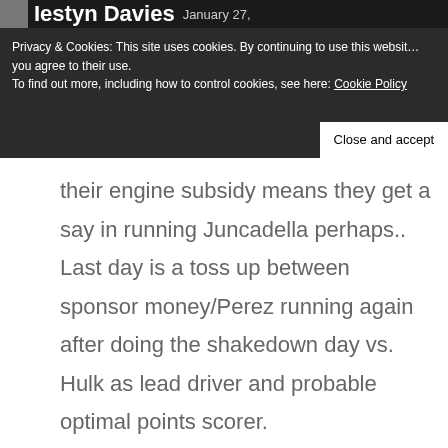Iestyn Davies  January 27,
Privacy & Cookies: This site uses cookies. By continuing to use this website you agree to their use. To find out more, including how to control cookies, see here: Cookie Policy
Close and accept
their engine subsidy means they get a say in running Juncadella perhaps.. Last day is a toss up between sponsor money/Perez running again after doing the shakedown day vs. Hulk as lead driver and probable optimal points scorer.